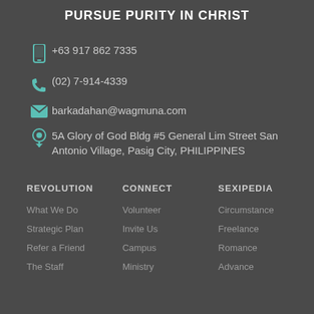PURSUE PURITY IN CHRIST
+63 917 862 7335
(02) 7-914-4339
barkadahan@wagmuna.com
5A Glory of God Bldg #5 General Lim Street San Antonio Village, Pasig City, PHILIPPINES
REVOLUTION
CONNECT
SEXIPEDIA
What We Do
Volunteer
Circumstance
Strategic Plan
Invite Us
Freelance
Refer a Friend
Campus
Romance
The Staff
Ministry
Advance